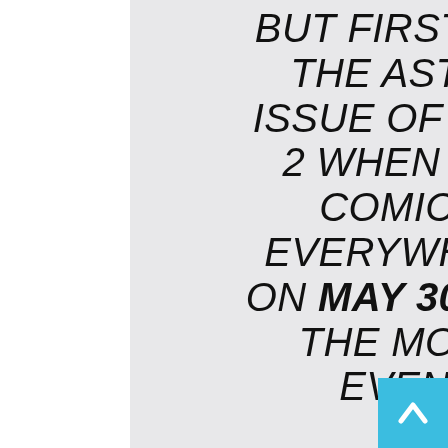BUT FIRST! JUMP ON BOARD THE ASTONISHING FIRST ISSUE OF HARBINGER WARS 2 WHEN IT DESCENDS ON COMIC BOOK STORES EVERYWHERE THIS MONTH ON MAY 30TH! THIS SUMMER, THE MOST ANTICIPATED EVENT IN VALIANT'S